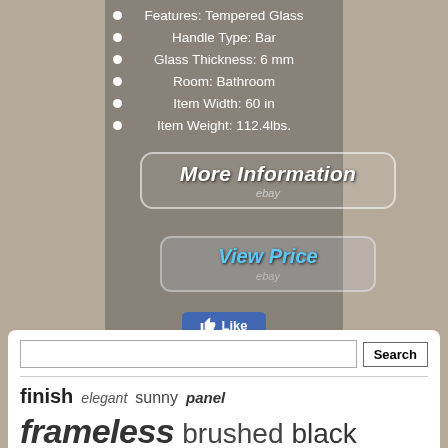Features: Tempered Glass
Handle Type: Bar
Glass Thickness: 6 mm
Room: Bathroom
Item Width: 60 in
Item Weight: 112.4lbs.
[Figure (screenshot): More Information button with eBay branding]
[Figure (screenshot): View Price button with eBay branding]
[Figure (infographic): Like button and social media share icons for Facebook, Twitter, Pinterest, and Email]
[Figure (screenshot): Search bar with Search button]
finish  elegant  sunny  panel
frameless  brushed  black